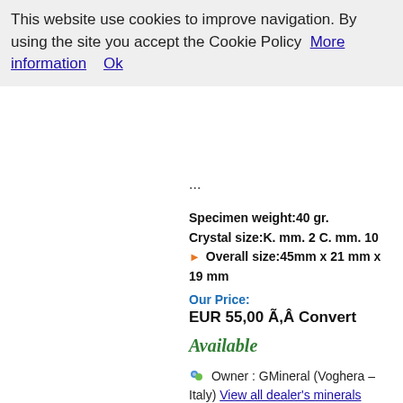This website use cookies to improve navigation. By using the site you accept the Cookie Policy  More information    Ok
...
Specimen weight:40 gr.
Crystal size:K. mm. 2 C. mm. 10
▶ Overall size:45mm x 21 mm x 19 mm
Our Price:
EUR 55,00 Ã,Â Convert
Available
Owner : GMineral (Voghera – Italy) View all dealer's minerals
This specimen will be shipped by: GMineral